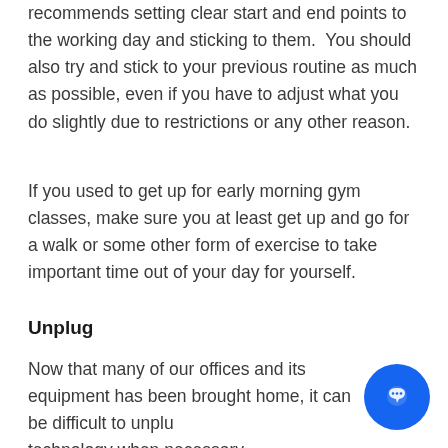recommends setting clear start and end points to the working day and sticking to them. You should also try and stick to your previous routine as much as possible, even if you have to adjust what you do slightly due to restrictions or any other reason.
If you used to get up for early morning gym classes, make sure you at least get up and go for a walk or some other form of exercise to take important time out of your day for yourself.
Unplug
Now that many of our offices and its equipment has been brought home, it can be difficult to unplug technology when necessary.